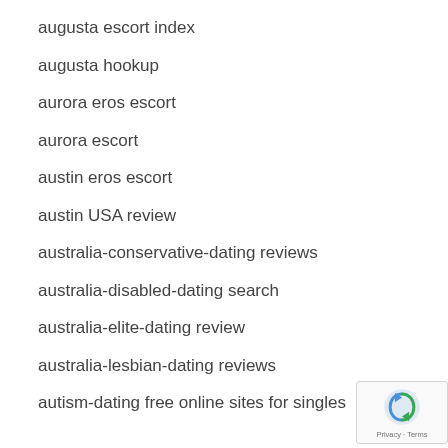augusta escort index
augusta hookup
aurora eros escort
aurora escort
austin eros escort
austin USA review
australia-conservative-dating reviews
australia-disabled-dating search
australia-elite-dating review
australia-lesbian-dating reviews
autism-dating free online sites for singles